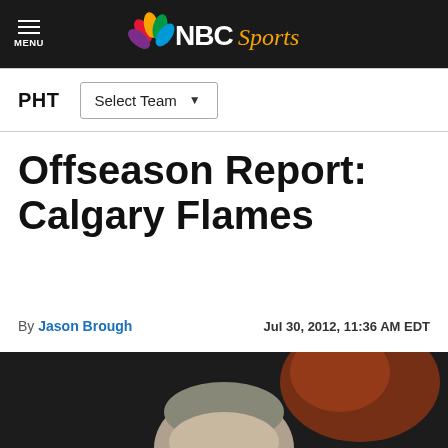NBC Sports
PHT  Select Team
Offseason Report: Calgary Flames
By Jason Brough  Jul 30, 2012, 11:36 AM EDT
[Figure (photo): Close-up photo of a bald person, dark background with orange/red blur]